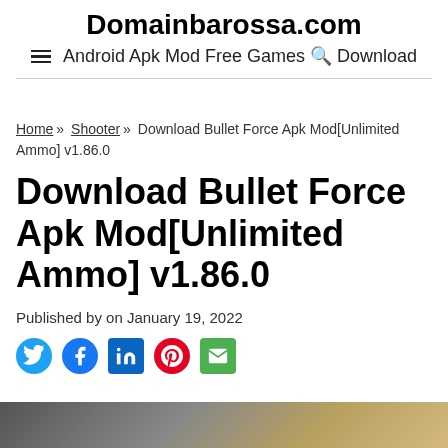Domainbarossa.com — Android Apk Mod Free Games Download
Home » Shooter » Download Bullet Force Apk Mod[Unlimited Ammo] v1.86.0
Download Bullet Force Apk Mod[Unlimited Ammo] v1.86.0
Published by on January 19, 2022
[Figure (infographic): Social share icons: Twitter (blue bird), Facebook (blue f), LinkedIn (blue in), Pinterest (red P), Email (green envelope)]
[Figure (photo): Bottom partial image strip, dark with warm tones]